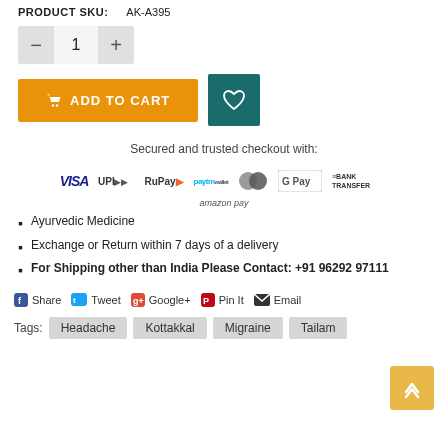PRODUCT SKU: AK-A395
[Figure (screenshot): Quantity selector with minus, 1, plus buttons]
[Figure (screenshot): Add to Cart orange button and teal wishlist heart button]
Secured and trusted checkout with:
[Figure (screenshot): Payment logos: VISA, UPI, RuPay, Paytm, Mastercard, G Pay, Bank Transfer, Amazon Pay]
Ayurvedic Medicine
Exchange or Return within 7 days of a delivery
For Shipping other than India Please Contact: +91 96292 97111
Share  Tweet  Google+  Pin It  Email
Tags: Headache  Kottakkal  Migraine  Tailam